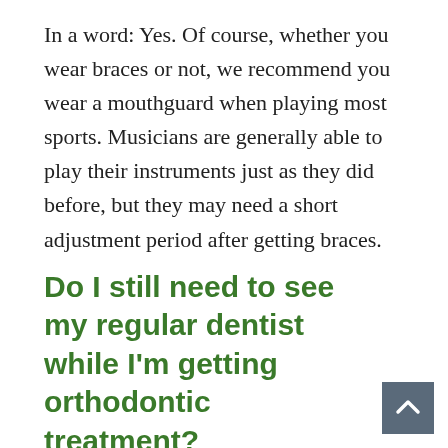In a word: Yes. Of course, whether you wear braces or not, we recommend you wear a mouthguard when playing most sports. Musicians are generally able to play their instruments just as they did before, but they may need a short adjustment period after getting braces.
Do I still need to see my regular dentist while I'm getting orthodontic treatment?